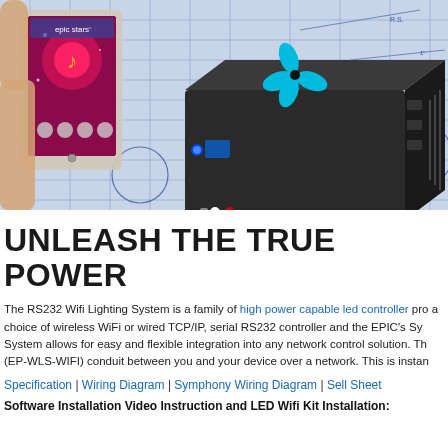[Figure (photo): Product hero image showing a hand holding a tablet with the Epic Stars app, a black LED controller box with a cyan flower logo, and blueprint engineering drawings in the background.]
UNLEASH THE TRUE POWER
The RS232 Wifi Lighting System is a family of high power capable led controller products that provide a choice of wireless WiFi or wired TCP/IP, serial RS232 controller and the EPIC's Symphony Wifi System allows for easy and flexible integration into any network control solution. The (EP-WLS-WIFI) conduit between you and your device over a network. This is instan
Specification | Wiring Diagram | Symphony Wiring Diagram | Sell Sheet
Software Installation Video Instruction and LED Wifi Kit Installation: